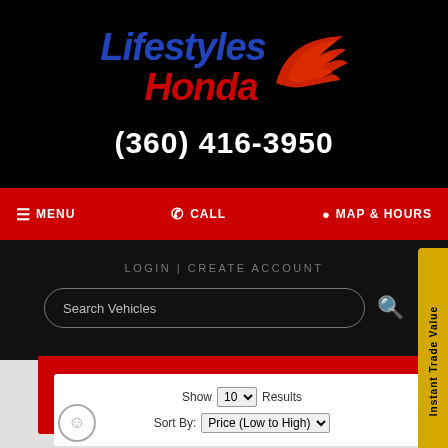[Figure (logo): Lifestyles Honda dealership logo with italic blue 'Lifestyles' text, red 'Honda' text, and red Honda wing emblem]
(360) 416-3950
≡ MENU
✆ CALL
⦿ MAP & HOURS
LOGIN | CREATE ACCOUNT
Search Vehicles
Instant Trade Value
FILTER BAR
Show 10 Results
Sort By: Price (Low to High)